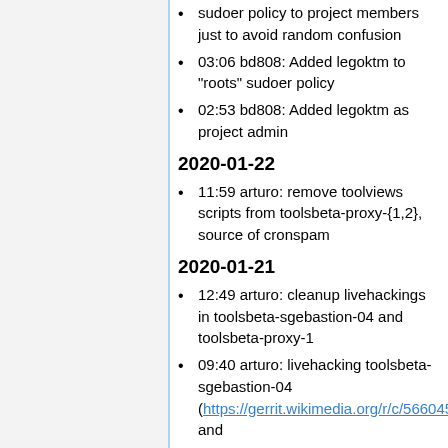sudoer policy to project members just to avoid random confusion
03:06 bd808: Added legoktm to "roots" sudoer policy
02:53 bd808: Added legoktm as project admin
2020-01-22
11:59 arturo: remove toolviews scripts from toolsbeta-proxy-{1,2}, source of cronspam
2020-01-21
12:49 arturo: cleanup livehackings in toolsbeta-sgebastion-04 and toolsbeta-proxy-1
09:40 arturo: livehacking toolsbeta-sgebastion-04 (https://gerrit.wikimedia.org/r/c/566045 and